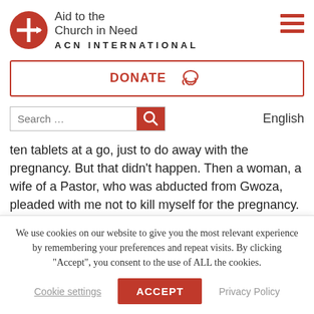[Figure (logo): Aid to the Church in Need ACN International logo — red circle with white cross and arrow, text 'Aid to the Church in Need' and 'ACN INTERNATIONAL']
[Figure (other): Red hamburger menu icon (three horizontal red lines)]
[Figure (other): DONATE button with red border, red text 'DONATE' and a hand-with-heart icon]
[Figure (other): Search bar with placeholder 'Search ...' and red search button, plus 'English' label]
ten tablets at a go, just to do away with the pregnancy. But that didn't happen. Then a woman, a wife of a Pastor, who was abducted from Gwoza, pleaded with me not to kill myself for the pregnancy. She had already two children
We use cookies on our website to give you the most relevant experience by remembering your preferences and repeat visits. By clicking "Accept", you consent to the use of ALL the cookies.
Cookie settings   ACCEPT   Privacy Policy